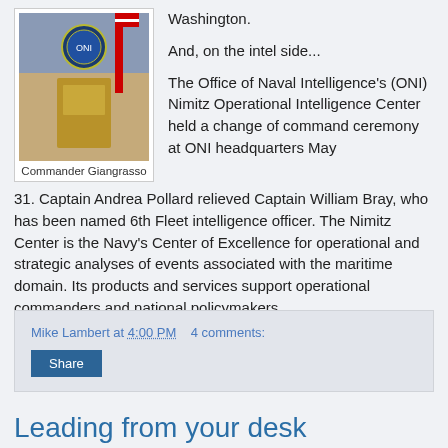[Figure (photo): Photo of a podium with a naval insignia seal and flags in the background]
Commander Giangrasso
Washington.
And, on the intel side...
The Office of Naval Intelligence's (ONI) Nimitz Operational Intelligence Center held a change of command ceremony at ONI headquarters May 31. Captain Andrea Pollard relieved Captain William Bray, who has been named 6th Fleet intelligence officer. The Nimitz Center is the Navy's Center of Excellence for operational and strategic analyses of events associated with the maritime domain. Its products and services support operational commanders and national policymakers.
Mike Lambert at 4:00 PM   4 comments:
Share
Leading from your desk